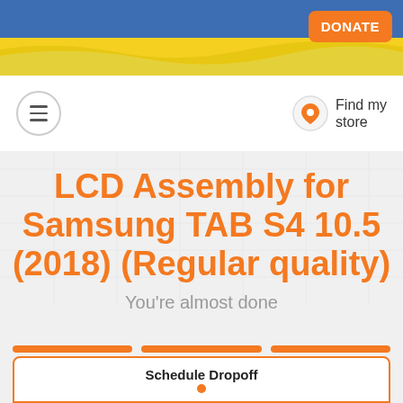[Figure (screenshot): Ukrainian flag banner at the top of the page with blue and yellow colors]
DONATE
[Figure (screenshot): Navigation bar with hamburger menu on left and Find my store with location pin on right]
LCD Assembly for Samsung TAB S4 10.5 (2018) (Regular quality)
You're almost done
Schedule Dropoff